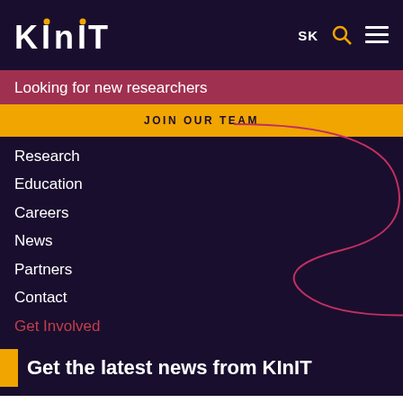KInIT  SK
Looking for new researchers
JOIN OUR TEAM
Research
Education
Careers
News
Partners
Contact
Get Involved
Get the latest news from KInIT
We use cookies on our website to give you the most relevant experience by remembering your preferences and repeat visits. By clicking “Accept”, you consent to the use of ALL the cookies.
Cookie settings  ACCEPT